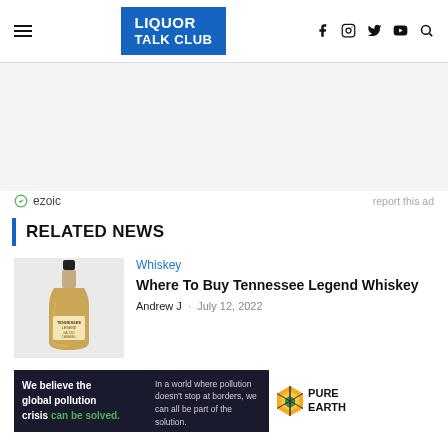LIQUOR TALK CLUB — navigation header with social icons
[Figure (other): Advertisement banner area (gray background, ezoic ad placeholder)]
ezoic  report this ad
RELATED NEWS
[Figure (photo): Thumbnail image of a whiskey bottle (Tennessee Legend Whiskey Salted Caramel)]
Whiskey
Where To Buy Tennessee Legend Whiskey
Andrew J  ·  July 12, 2022
[Figure (other): Pure Earth advertisement banner: 'We believe the global pollution crisis can be solved.' with Pure Earth logo]